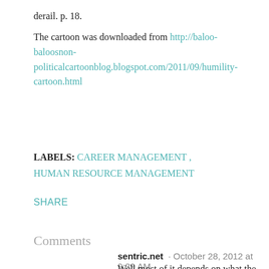derail. p. 18.
The cartoon was downloaded from http://baloo-baloosnon-politicalcartoonblog.blogspot.com/2011/09/humility-cartoon.html
LABELS: CAREER MANAGEMENT , HUMAN RESOURCE MANAGEMENT
SHARE
Comments
sentric.net · October 28, 2012 at 9:39 AM
Well most of it depends on what the company is looking for. I think that a